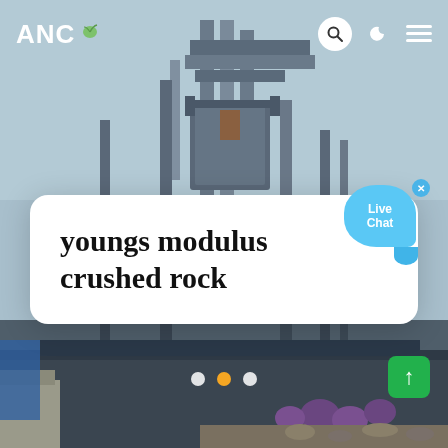[Figure (photo): Industrial rock crushing machinery with steel structure and conveyor equipment photographed outdoors against a light blue sky.]
ANC
youngs modulus crushed rock
Live Chat